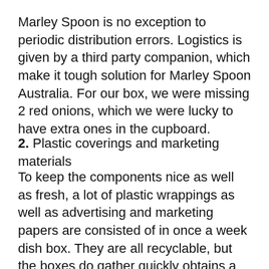Marley Spoon is no exception to periodic distribution errors. Logistics is given by a third party companion, which make it tough solution for Marley Spoon Australia. For our box, we were missing 2 red onions, which we were lucky to have extra ones in the cupboard.
2. Plastic coverings and marketing materials
To keep the components nice as well as fresh, a lot of plastic wrappings as well as advertising and marketing papers are consisted of in once a week dish box. They are all recyclable, but the boxes do gather quickly obtains a little irritating over time. This coincides situation for HelloFresh. If you are searching for minimum packaging, after